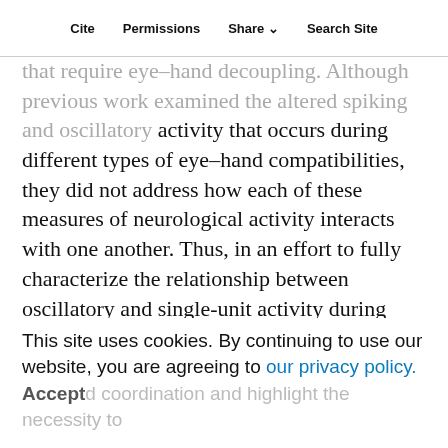Cite   Permissions   Share   Search Site
that require eye–hand decoupling. Although previous work examined the altered spiking and oscillatory activity that occurs during different types of eye–hand compatibilities, they did not address how each of these measures of neurological activity interacts with one another. Thus, in an effort to fully characterize the relationship between oscillatory and single-unit activity during different types of eye–hand coordination, we measured the spike–field coherence (SFC) within regions of macaque SPL and PMd. We observed stronger SFC within PMdr and superficial regions of SPL (areas 5/PEc) during decoupled reaches, whereas PMdc and regions within SPL surrounding medial intrapareital sulcus had stronger SFC during coupled reaches. These results were supported by meta-analytic communication textures that found support the preparation of macaque area that highlight the complex eye–hand coordination and highlight the necessity to encounter the different eye–hand areas.
This site uses cookies. By continuing to use our website, you are agreeing to our privacy policy.
Accept